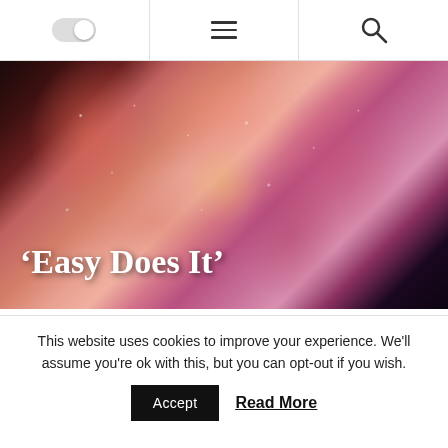[toggle] [menu] [search]
[Figure (photo): Close-up photograph of a pink/salmon rose with water droplets on the petals, dark background, with the text 'Easy Does It' overlaid in white serif bold font]
‘Easy Does It’
This website uses cookies to improve your experience. We'll assume you're ok with this, but you can opt-out if you wish.
Accept    Read More